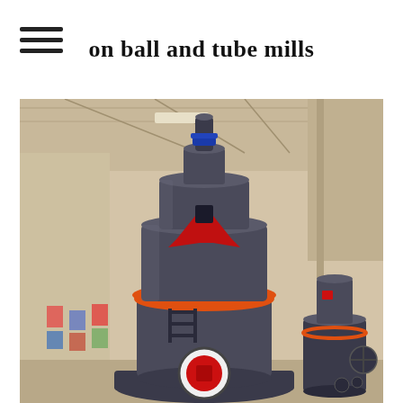on ball and tube mills
[Figure (photo): Industrial grinding mill equipment (likely a Raymond or vertical roller mill) displayed in a warehouse/factory setting. The machine is large, cylindrical, dark grey in color with orange accent ring and red components including a feed chute at top and a circular access port at the bottom. A second smaller similar machine is visible to the right. International flags are visible in the background.]